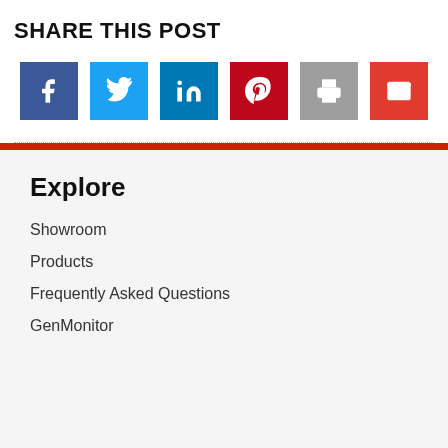SHARE THIS POST
[Figure (infographic): Row of 6 social sharing icon buttons: Facebook (dark blue), Twitter (light blue), LinkedIn (medium blue), Pinterest (dark red), Print (gray), Email (red)]
Explore
Showroom
Products
Frequently Asked Questions
GenMonitor